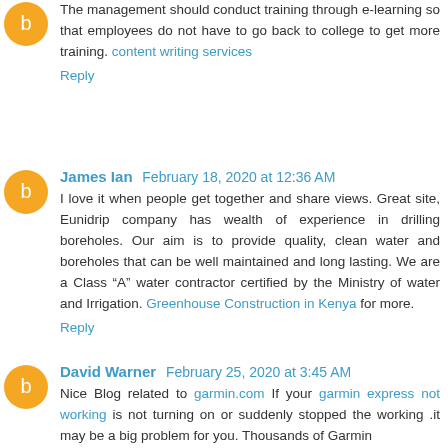The management should conduct training through e-learning so that employees do not have to go back to college to get more training. content writing services
Reply
James Ian  February 18, 2020 at 12:36 AM
I love it when people get together and share views. Great site, Eunidrip company has wealth of experience in drilling boreholes. Our aim is to provide quality, clean water and boreholes that can be well maintained and long lasting. We are a Class “A” water contractor certified by the Ministry of water and Irrigation. Greenhouse Construction in Kenya for more.
Reply
David Warner  February 25, 2020 at 3:45 AM
Nice Blog related to garmin.com If your garmin express not working is not turning on or suddenly stopped the working .it may be a big problem for you. Thousands of Garmin